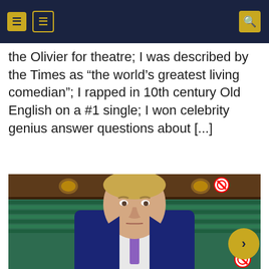[navigation header with icons]
the Olivier for theatre; I was described by the Times as “the world’s greatest living comedian”; I rapped in 10th century Old English on a #1 single; I won celebrity genius answer questions about [...]
[Figure (photo): A man in a navy blue suit with a purple tie standing in what appears to be the UK House of Commons chamber, with green benches visible in the background.]